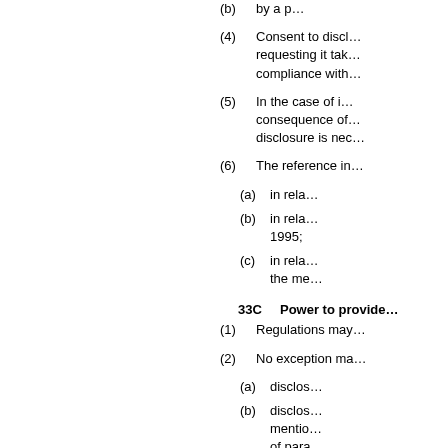(b) by a p...
(4) Consent to discl... requesting it tak... compliance with...
(5) In the case of i... consequence of... disclosure is nec...
(6) The reference in...
(a) in rela...
(b) in rela... 1995;
(c) in rela... the me...
33C Power to provide...
(1) Regulations may...
(2) No exception ma...
(a) disclos...
(b) disclos... mentio... of para...